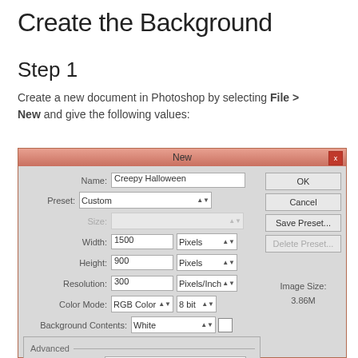Create the Background
Step 1
Create a new document in Photoshop by selecting File > New and give the following values:
[Figure (screenshot): Photoshop New Document dialog showing fields: Name: Creepy Halloween, Preset: Custom, Width: 1500 Pixels, Height: 900 Pixels, Resolution: 300 Pixels/Inch, Color Mode: RGB Color 8 bit, Background Contents: White, Color Profile: Don't Color Manage this Document, Pixel Aspect Ratio: Square Pixels. Buttons: OK, Cancel, Save Preset..., Delete Preset.... Image Size: 3.86M]